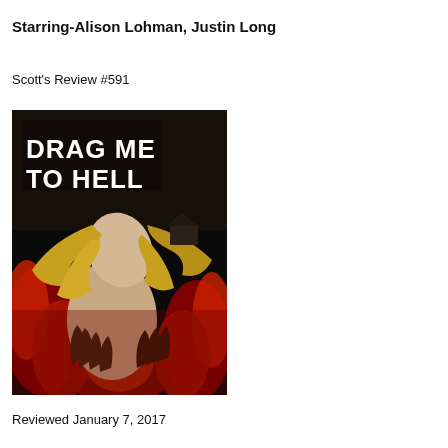Starring-Alison Lohman, Justin Long
Scott's Review #591
[Figure (photo): Movie poster for 'Drag Me to Hell' showing a woman with blonde hair being grabbed by demonic hands against a background of red flames, with the title 'DRAG ME TO HELL' in bold white text at the top.]
Reviewed January 7, 2017